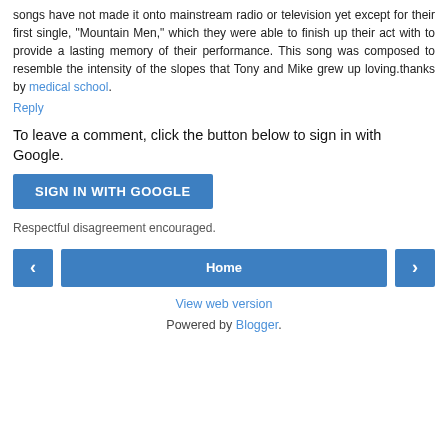songs have not made it onto mainstream radio or television yet except for their first single, "Mountain Men," which they were able to finish up their act with to provide a lasting memory of their performance. This song was composed to resemble the intensity of the slopes that Tony and Mike grew up loving.thanks by medical school.
Reply
To leave a comment, click the button below to sign in with Google.
SIGN IN WITH GOOGLE
Respectful disagreement encouraged.
< Home >
View web version
Powered by Blogger.